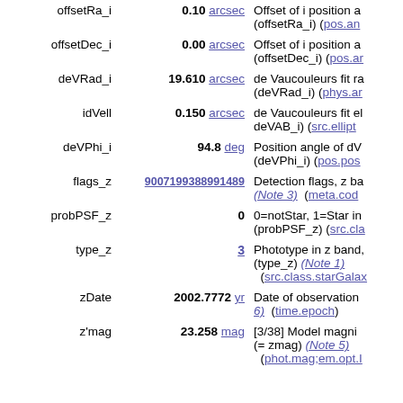| Name | Value | Description |
| --- | --- | --- |
| offsetRa_i | 0.10 arcsec | Offset of i position a (offsetRa_i) (pos.ang… |
| offsetDec_i | 0.00 arcsec | Offset of i position a (offsetDec_i) (pos.ar… |
| deVRad_i | 19.610 arcsec | de Vaucouleurs fit ra (deVRad_i) (phys.ar… |
| idVell | 0.150 arcsec | de Vaucouleurs fit el deVAB_i) (src.ellipt… |
| deVPhi_i | 94.8 deg | Position angle of dV (deVPhi_i) (pos.pos… |
| flags_z | 9007199388991489 | Detection flags, z ba (Note 3) (meta.cod… |
| probPSF_z | 0 | 0=notStar, 1=Star in (probPSF_z) (src.cla… |
| type_z | 3 | Phototype in z band, (type_z) (Note 1) (src.class.starGalax… |
| zDate | 2002.7772 yr | Date of observation 6) (time.epoch) |
| z'mag | 23.258 mag | [3/38] Model magni (= zmag) (Note 5) (phot.mag;em.opt.I… |